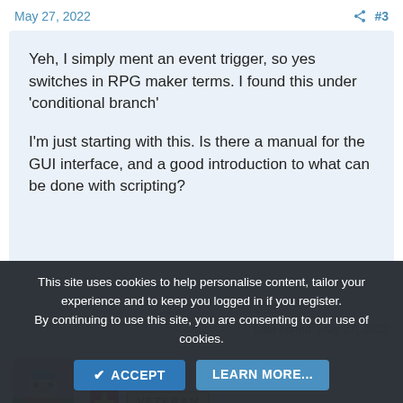May 27, 2022   #3
Yeh, I simply ment an event trigger, so yes switches in RPG maker terms. I found this under 'conditional branch'

I'm just starting with this. Is there a manual for the GUI interface, and a good introduction to what can be done with scripting?
Last edited: May 27, 2022
BenSD
This site uses cookies to help personalise content, tailor your experience and to keep you logged in if you register.
By continuing to use this site, you are consenting to our use of cookies.